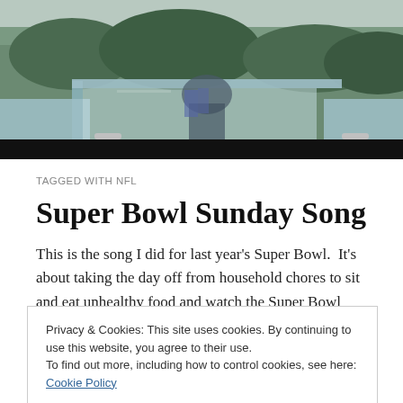[Figure (photo): Hero image of a vintage car window with a person visible inside, foliage in background]
TAGGED WITH NFL
Super Bowl Sunday Song
This is the song I did for last year's Super Bowl.  It's about taking the day off from household chores to sit and eat unhealthy food and watch the Super Bowl hype.  Thanks
Privacy & Cookies: This site uses cookies. By continuing to use this website, you agree to their use.
To find out more, including how to control cookies, see here: Cookie Policy
November 4th “Catering for